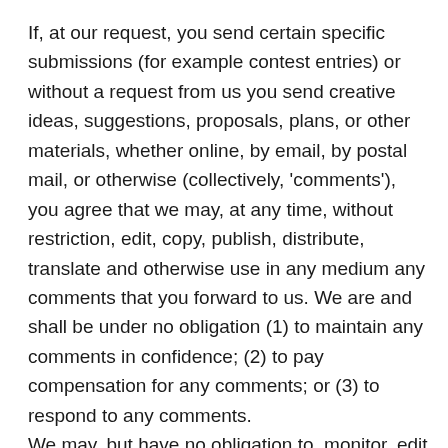If, at our request, you send certain specific submissions (for example contest entries) or without a request from us you send creative ideas, suggestions, proposals, plans, or other materials, whether online, by email, by postal mail, or otherwise (collectively, 'comments'), you agree that we may, at any time, without restriction, edit, copy, publish, distribute, translate and otherwise use in any medium any comments that you forward to us. We are and shall be under no obligation (1) to maintain any comments in confidence; (2) to pay compensation for any comments; or (3) to respond to any comments.
We may, but have no obligation to, monitor, edit or remove content that we determine in our sole discretion are unlawful, offensive, threatening,